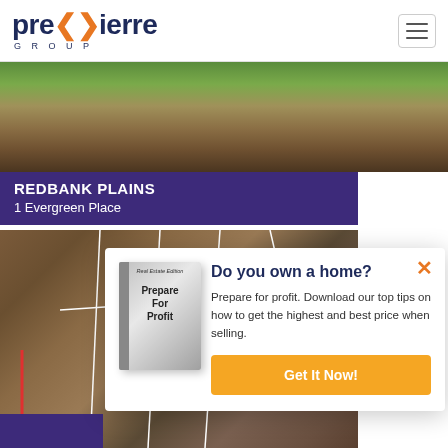[Figure (logo): Premierre Group logo with orange chevron accent and GROUP subtitle]
[Figure (photo): Aerial satellite view of Redbank Plains property area with green and brown terrain]
REDBANK PLAINS
1 Evergreen Place
[Figure (photo): Aerial satellite view of land lots with white boundary lines overlaid, showing multiple parcels]
Do you own a home?
Prepare for profit. Download our top tips on how to get the highest and best price when selling.
Get It Now!